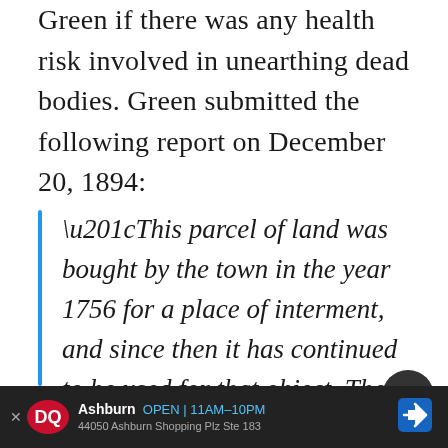Green if there was any health risk involved in unearthing dead bodies. Green submitted the following report on December 20, 1894:
“This parcel of land was bought by the town in the year 1756 for a place of interment, and since then it has continued to be used for that object. The first burials were made in graves, and, so far as now can be ascertained, the earliest tombs were built about 1793. Some years later Frog lane was widened, and became Boylston street,
Ashburn  OPEN | 11AM-10PM  44050 Ashburn Shopping Plz Ste 183